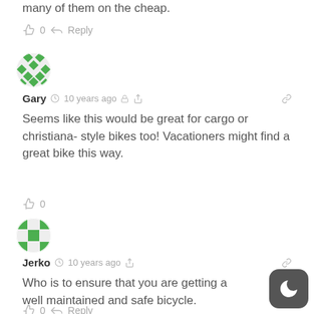many of them on the cheap.
👍 0  ➜ Reply
[Figure (illustration): Green mosaic pattern avatar for user Gary]
Gary  🕐 10 years ago  🔒  ⬡  🔗
Seems like this would be great for cargo or christiana- style bikes too! Vacationers might find a great bike this way.
👍 0
[Figure (illustration): Green mosaic pattern avatar for user Jerko]
Jerko  🕐 10 years ago  ⬡  🔗
Who is to ensure that you are getting a well maintained and safe bicycle.
👍 0  ➜ Reply
[Figure (illustration): Dark rounded square night mode button icon in bottom right corner]